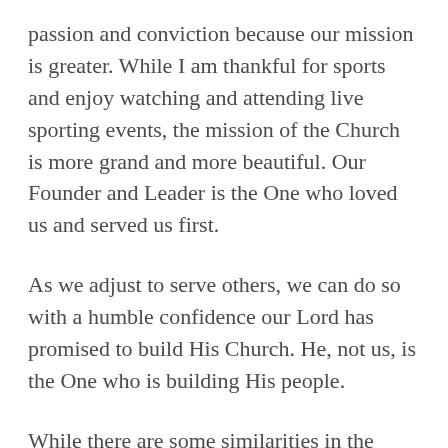passion and conviction because our mission is greater. While I am thankful for sports and enjoy watching and attending live sporting events, the mission of the Church is more grand and more beautiful. Our Founder and Leader is the One who loved us and served us first.
As we adjust to serve others, we can do so with a humble confidence our Lord has promised to build His Church. He, not us, is the One who is building His people.
While there are some similarities in the above two lists, the Church is different. While some predict that stadiums will fill again with sports fans because of our longing to gather and unite (I believe they will), that